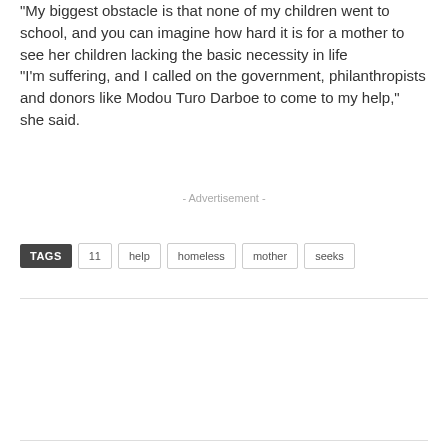“My biggest obstacle is that none of my children went to school, and you can imagine how hard it is for a mother to see her children lacking the basic necessity in life “I’m suffering, and I called on the government, philanthropists and donors like Modou Turo Darboe to come to my help,” she said.
- Advertisement -
TAGS  11  help  homeless  mother  seeks